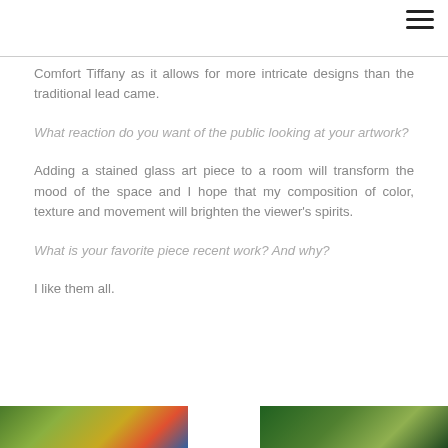≡
Comfort Tiffany as it allows for more intricate designs than the traditional lead came.
What reaction do you want of the public looking at your artwork?
Adding a stained glass art piece to a room will transform the mood of the space and I hope that my composition of color, texture and movement will brighten the viewer's spirits.
What is your favorite piece recent work? And why?
I like them all.
[Figure (photo): Two partial thumbnail images of stained glass artwork at the bottom of the page]